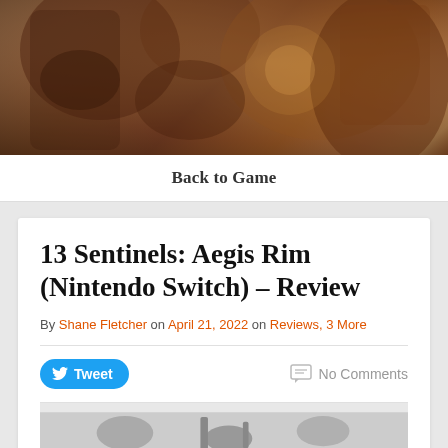[Figure (photo): Hero image showing mechanical/game artwork with dark warm tones, browns and oranges]
Back to Game
13 Sentinels: Aegis Rim (Nintendo Switch) – Review
By Shane Fletcher on April 21, 2022 on Reviews, 3 More
Tweet   No Comments
[Figure (photo): Bottom partial image from the article]